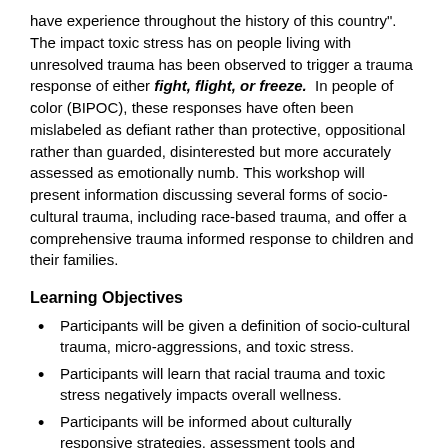have experience throughout the history of this country". The impact toxic stress has on people living with unresolved trauma has been observed to trigger a trauma response of either fight, flight, or freeze. In people of color (BIPOC), these responses have often been mislabeled as defiant rather than protective, oppositional rather than guarded, disinterested but more accurately assessed as emotionally numb. This workshop will present information discussing several forms of socio-cultural trauma, including race-based trauma, and offer a comprehensive trauma informed response to children and their families.
Learning Objectives
Participants will be given a definition of socio-cultural trauma, micro-aggressions, and toxic stress.
Participants will learn that racial trauma and toxic stress negatively impacts overall wellness.
Participants will be informed about culturally responsive strategies, assessment tools and interventions.